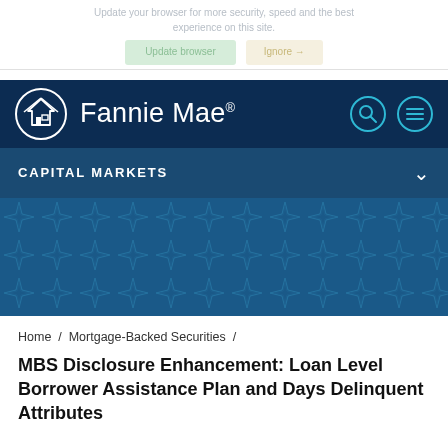Update your browser for more security, speed and the best experience on this site.
[Figure (screenshot): Browser update banner with 'Update browser' and 'Ignore' buttons]
[Figure (logo): Fannie Mae navigation bar with logo and search/menu icons]
CAPITAL MARKETS
[Figure (illustration): Dark blue hero section with geometric star/diamond pattern]
Home / Mortgage-Backed Securities /
MBS Disclosure Enhancement: Loan Level Borrower Assistance Plan and Days Delinquent Attributes